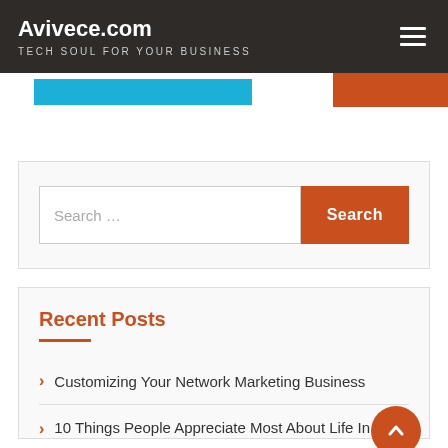Avivece.com — TECH SOUL FOR YOUR BUSINESS
[Figure (screenshot): Navigation tab area with orange and blue colored tab strips]
[Figure (screenshot): Search widget box with text input field placeholder 'Search ...' and orange Search button]
Recent Posts
Customizing Your Network Marketing Business
10 Things People Appreciate Most About Life In